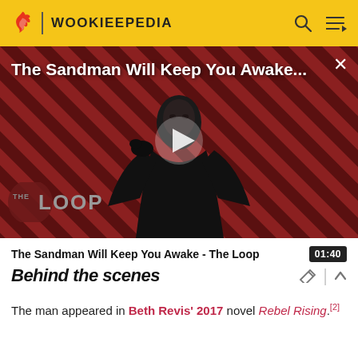WOOKIEEPEDIA
[Figure (screenshot): Video thumbnail for 'The Sandman Will Keep You Awake...' featuring a dark figure in black robes against a red and black diagonal striped background, with 'THE LOOP' logo visible at bottom left and a white play button in the center. A close button (X) is in the top right corner.]
The Sandman Will Keep You Awake - The Loop  01:40
Behind the scenes
The man appeared in Beth Revis' 2017 novel Rebel Rising.[2]